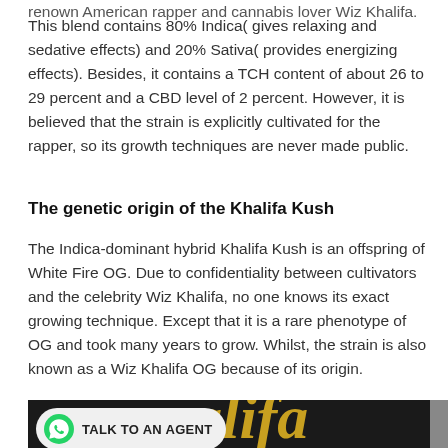renown American rapper and cannabis lover Wiz Khalifa. This blend contains 80% Indica( gives relaxing and sedative effects) and 20% Sativa( provides energizing effects). Besides, it contains a TCH content of about 26 to 29 percent and a CBD level of 2 percent. However, it is believed that the strain is explicitly cultivated for the rapper, so its growth techniques are never made public.
The genetic origin of the Khalifa Kush
The Indica-dominant hybrid Khalifa Kush is an offspring of White Fire OG. Due to confidentiality between cultivators and the celebrity Wiz Khalifa, no one knows its exact growing technique. Except that it is a rare phenotype of OG and took many years to grow. Whilst, the strain is also known as a Wiz Khalifa OG because of its origin.
[Figure (photo): Bottom portion of page showing a WhatsApp 'TALK TO AN AGENT' bubble overlay on a dark background with gold stylized text (partial cannabis brand imagery)]